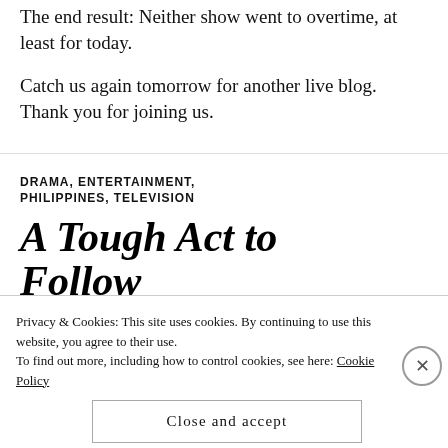The end result: Neither show went to overtime, at least for today.
Catch us again tomorrow for another live blog. Thank you for joining us.
DRAMA, ENTERTAINMENT, PHILIPPINES, TELEVISION
A Tough Act to Follow
Privacy & Cookies: This site uses cookies. By continuing to use this website, you agree to their use.
To find out more, including how to control cookies, see here: Cookie Policy
Close and accept